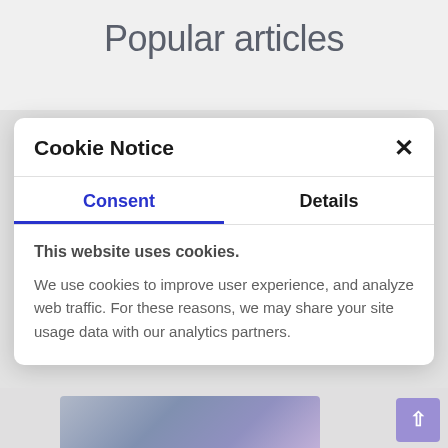Popular articles
Cookie Notice
Consent	Details
This website uses cookies.
We use cookies to improve user experience, and analyze web traffic. For these reasons, we may share your site usage data with our analytics partners.